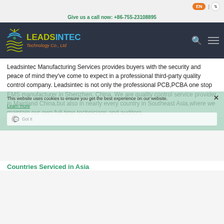EN | ▲▼
Give us a call now: +86-755-23108895
[Figure (logo): Leadsintec Technology Co., Ltd logo with stylized antenna icon, LEADS in olive/yellow, INTEC in blue, tagline in orange]
Leadsintec Manufacturing Services provides buyers with the security and peace of mind they've come to expect in a professional third-party quality control company. Leadsintec is not only the professional PCB,PCBA one stop EMS manufacturer in Shenzhen, China, We are quality control service provider in Mainland China,but also in nearly every country in Southeast Asia,where we maintain our own full-time technicians and auditors.
This website uses cookies to ensure you get the best experience on our website.
Learn more
Countries Serviced in Asia